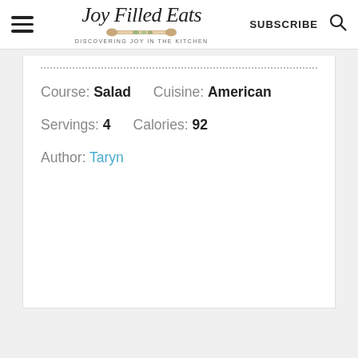Joy Filled Eats — DISCOVERING JOY IN THE KITCHEN | SUBSCRIBE
Course: Salad   Cuisine: American
Servings: 4   Calories: 92
Author: Taryn